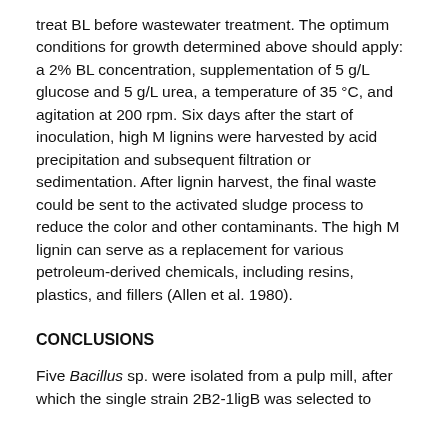treat BL before wastewater treatment. The optimum conditions for growth determined above should apply: a 2% BL concentration, supplementation of 5 g/L glucose and 5 g/L urea, a temperature of 35 °C, and agitation at 200 rpm. Six days after the start of inoculation, high M lignins were harvested by acid precipitation and subsequent filtration or sedimentation. After lignin harvest, the final waste could be sent to the activated sludge process to reduce the color and other contaminants. The high M lignin can serve as a replacement for various petroleum-derived chemicals, including resins, plastics, and fillers (Allen et al. 1980).
CONCLUSIONS
Five Bacillus sp. were isolated from a pulp mill, after which the single strain 2B2-1ligB was selected to